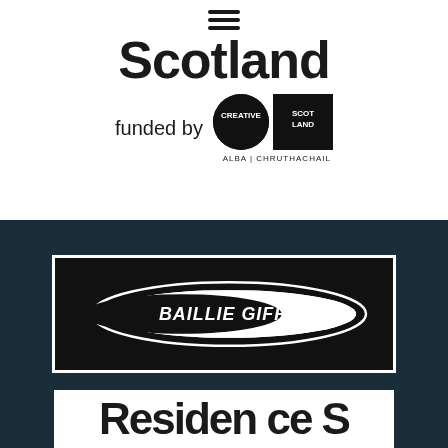[Figure (logo): Scotland / Scotiana logo with hamburger menu icon, 'funded by' text with Creative Scotland logo (circle and square with 'CREATIVE LAND' text and 'ALBA | CHRUTHACHAIL' below)]
[Figure (logo): Baillie Gifford logo — white ellipse with 'BAILLIE GIFFORD' text on black background, inside a white border rectangle]
[Figure (logo): Partial view of another logo at bottom — white background with large bold dark text partially visible]